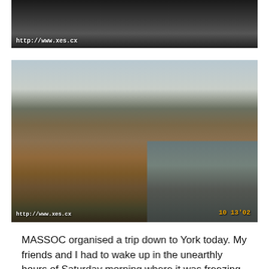[Figure (photo): Top photo showing people in dark/low-light setting with watermark http://www.xes.cx at bottom left]
[Figure (photo): Photo of York riverside with brick buildings, boats on the river, overcast sky. Watermark http://www.xes.cx at bottom left, date stamp 10 13'02 at bottom right.]
MASSOC organised a trip down to York today. My friends and I had to wake up in the unearthly hours of Saturday morning where it was freezing and raining heavily. But it did not break my spirit of